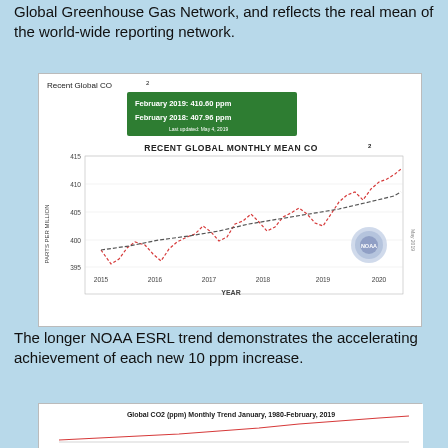Global Greenhouse Gas Network, and reflects the real mean of the world-wide reporting network.
[Figure (line-chart): Line chart showing recent global monthly mean CO2 from 2015 to 2020. Red dashed line shows seasonal variation, gray/green dashed line shows trend. Y-axis: Parts Per Million (395-415). X-axis: Year (2015-2020). Inset box: February 2019: 410.60 ppm, February 2018: 407.96 ppm. Last updated: May 4, 2019. NOAA logo visible.]
The longer NOAA ESRL trend demonstrates the accelerating achievement of each new 10 ppm increase.
[Figure (line-chart): Partial view of a line chart showing global CO2 monthly trend from January 1980 to February 2019.]